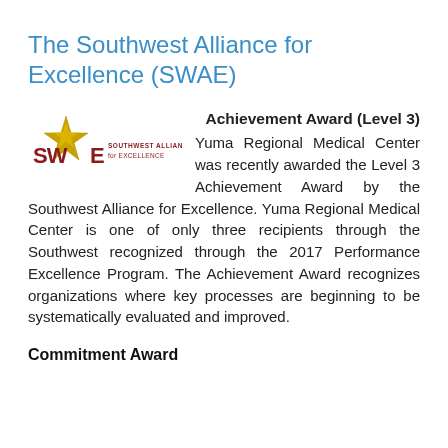The Southwest Alliance for Excellence (SWAE)
[Figure (logo): Southwest Alliance for Excellence (SWAE) logo with a gold star and red/maroon text]
Achievement Award (Level 3) Yuma Regional Medical Center was recently awarded the Level 3 Achievement Award by the Southwest Alliance for Excellence. Yuma Regional Medical Center is one of only three recipients through the Southwest recognized through the 2017 Performance Excellence Program. The Achievement Award recognizes organizations where key processes are beginning to be systematically evaluated and improved.
Commitment Award